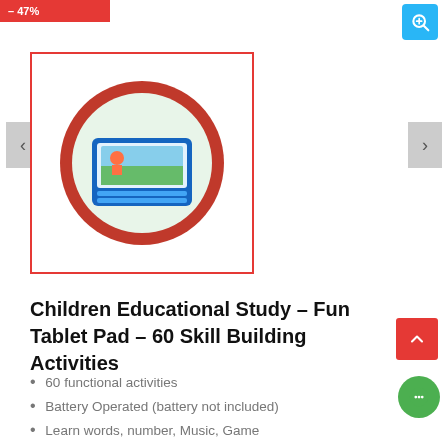[Figure (photo): Product image of a children's educational tablet pad with colorful circular design]
Children Educational Study – Fun Tablet Pad – 60 Skill Building Activities
60 functional activities
Battery Operated (battery not included)
Learn words, number, Music, Game
Learn English, Math, Tools
It develops logical thinking• Visualization skill